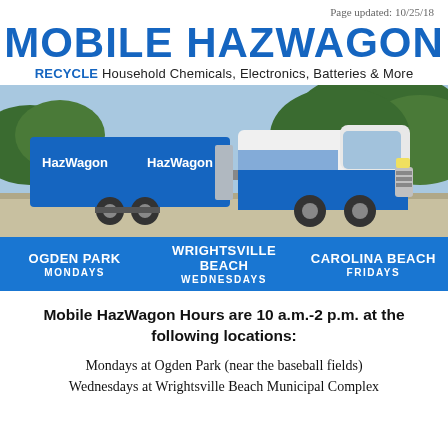Page updated: 10/25/18
MOBILE HAZWAGON
RECYCLE Household Chemicals, Electronics, Batteries & More
[Figure (photo): Mobile HazWagon van and trailer in blue with HazWagon branding, parked on a road with trees in background. Bottom bar shows three locations: Ogden Park (Mondays), Wrightsville Beach (Wednesdays), Carolina Beach (Fridays).]
Mobile HazWagon Hours are 10 a.m.-2 p.m. at the following locations:
Mondays at Ogden Park (near the baseball fields)
Wednesdays at Wrightsville Beach Municipal Complex